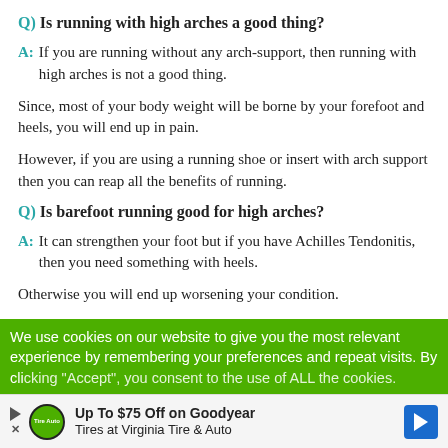Q) Is running with high arches a good thing?
A: If you are running without any arch-support, then running with high arches is not a good thing.
Since, most of your body weight will be borne by your forefoot and heels, you will end up in pain.
However, if you are using a running shoe or insert with arch support then you can reap all the benefits of running.
Q) Is barefoot running good for high arches?
A: It can strengthen your foot but if you have Achilles Tendonitis, then you need something with heels.
Otherwise you will end up worsening your condition.
We use cookies on our website to give you the most relevant experience by remembering your preferences and repeat visits. By clicking "Accept", you consent to the use of ALL the cookies.
[Figure (infographic): Advertisement banner: Up To $75 Off on Goodyear Tires at Virginia Tire & Auto, with Tire Auto logo and blue arrow button]